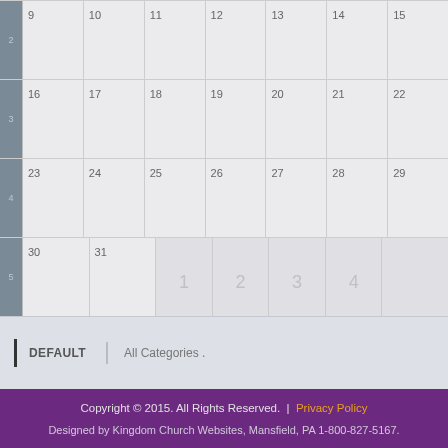| Wk | 9 | 10 | 11 | 12 | 13 | 14 | 15 |
| --- | --- | --- | --- | --- | --- | --- | --- |
| 2 |  |  |  |  |  |  |  |
| 3 | 16 | 17 | 18 | 19 | 20 | 21 | 22 |
| 4 | 23 | 24 | 25 | 26 | 27 | 28 | 29 |
| 5 | 30 | 31 | 1 | 2 | 3 | 4 |  |
DEFAULT   All Categories .
Copyright © 2015. All Rights Reserved.  |  Privacy Policy
Designed by Kingdom Church Websites, Mansfield, PA 1-800-827-5167.